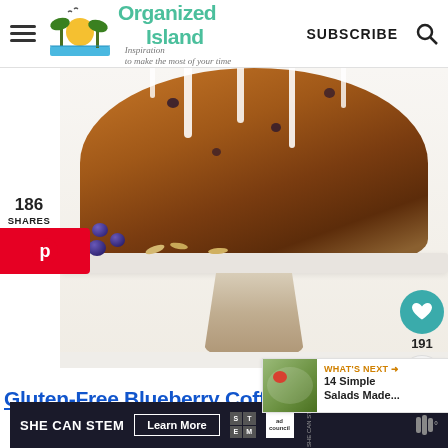Organized Island — Inspiration to make the most of your time
[Figure (photo): Blueberry bundt cake with white icing drizzle on a wooden pedestal cake stand, with fresh blueberries scattered around the base. Photo background is white/light grey.]
186
SHARES
[Figure (infographic): Pinterest share button (red P icon)]
[Figure (infographic): Heart/favorite button (teal circle) with count 191, and share button below]
[Figure (photo): What's Next thumbnail showing salad dish]
WHAT'S NEXT → 14 Simple Salads Made...
Gluten-Free Blueberry Coffee Cake - What
[Figure (infographic): SHE CAN STEM advertisement banner with Learn More button, STEM grid logo, Ad Council logo]